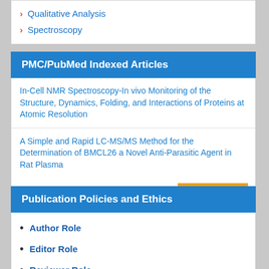Qualitative Analysis
Spectroscopy
PMC/PubMed Indexed Articles
In-Cell NMR Spectroscopy-In vivo Monitoring of the Structure, Dynamics, Folding, and Interactions of Proteins at Atomic Resolution
A Simple and Rapid LC-MS/MS Method for the Determination of BMCL26 a Novel Anti-Parasitic Agent in Rat Plasma
View More »
Publication Policies and Ethics
Author Role
Editor Role
Reviewer Role
Publisher Role